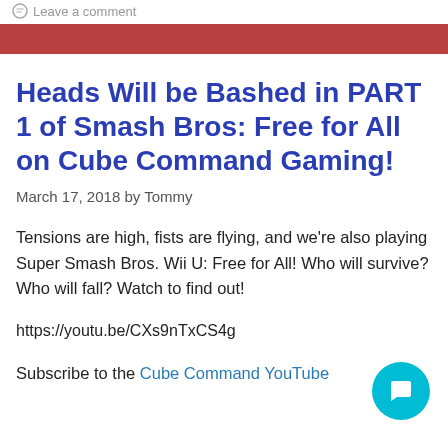Leave a comment
Heads Will be Bashed in PART 1 of Smash Bros: Free for All on Cube Command Gaming!
March 17, 2018 by Tommy
Tensions are high, fists are flying, and we're also playing Super Smash Bros. Wii U: Free for All! Who will survive? Who will fall? Watch to find out!
https://youtu.be/CXs9nTxCS4g
Subscribe to the Cube Command YouTube